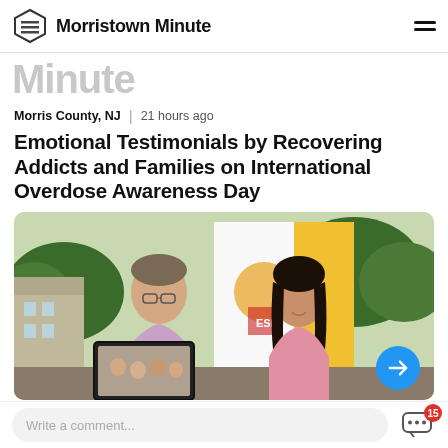Morristown Minute
Minute
Morris County, NJ | 21 hours ago
Emotional Testimonials by Recovering Addicts and Families on International Overdose Awareness Day
[Figure (photo): A man and woman standing outdoors in front of a yellow and white flag. The man wears glasses and a pink shirt; the woman appears emotional. He holds a framed photograph.]